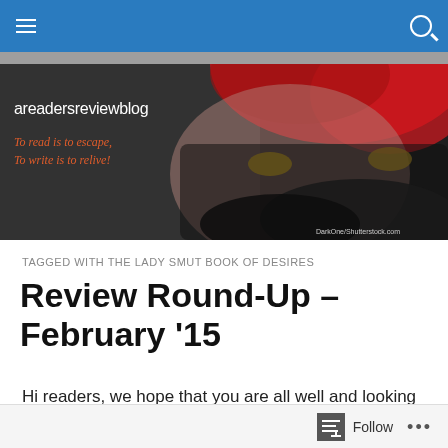areadersreviewblog navigation bar
[Figure (photo): Banner image showing a woman with bright red hair and dark eye makeup, partially covering her face with a dark feathered mask. The blog title 'areadersreviewblog' and tagline 'To read is to escape, To write is to relive!' are overlaid on the left. Photo credit: DarkOne/Shutterstock.com]
TAGGED WITH THE LADY SMUT BOOK OF DESIRES
Review Round-Up – February '15
Hi readers, we hope that you are all well and looking forward to the arrival of Spring, as Tina and I are. We want
Follow